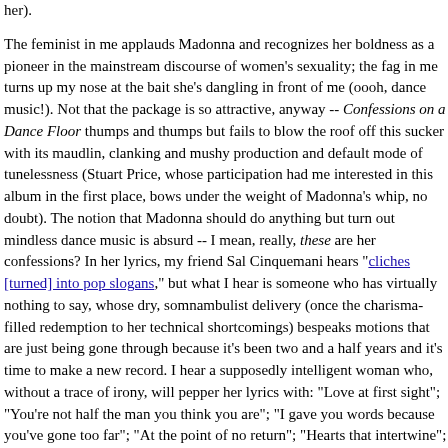her).

The feminist in me applauds Madonna and recognizes her boldness as a pioneer in the mainstream discourse of women's sexuality; the fag in me turns up my nose at the bait she's dangling in front of me (oooh, dance music!). Not that the package is so attractive, anyway -- Confessions on a Dance Floor thumps and thumps but fails to blow the roof off this sucker with its maudlin, clanking and mushy production and default mode of tunelessness (Stuart Price, whose participation had me interested in this album in the first place, bows under the weight of Madonna's whip, no doubt). The notion that Madonna should do anything but turn out mindless dance music is absurd -- I mean, really, these are her confessions? In her lyrics, my friend Sal Cinquemani hears "cliches [turned] into pop slogans," but what I hear is someone who has virtually nothing to say, whose dry, somnambulist delivery (once the charisma-filled redemption to her technical shortcomings) bespeaks motions that are just being gone through because it's been two and a half years and it's time to make a new record. I hear a supposedly intelligent woman who, without a trace of irony, will pepper her lyrics with: "Love at first sight"; "You're not half the man you think you are"; "I gave you words because you've gone too far"; "At the point of no return"; "Hearts that intertwine"; "I'm going down my own road"; "The only thing you can depend on is your family." I hear someone butchering the English language just so we can hear her voice.

That isn't generosity, you know.